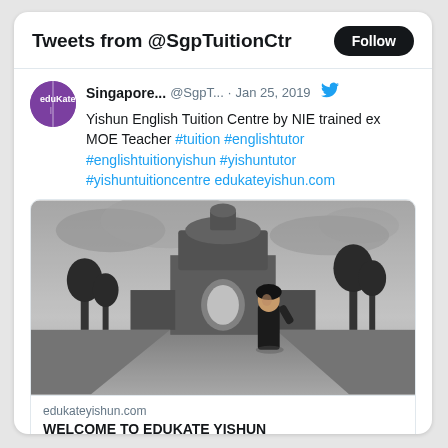Tweets from @SgpTuitionCtr
Singapore... @SgpT... · Jan 25, 2019
Yishun English Tuition Centre by NIE trained ex MOE Teacher #tuition #englishtutor #englishtuitionyishun #yishuntutor #yishuntuitioncentre edukateyishun.com
[Figure (photo): Black and white photo of a woman standing in front of a historic stone gatehouse/building with a driveway leading to it and trees on either side.]
edukateyishun.com
WELCOME TO EDUKATE YISHUN ENGLISH MATHS SCIENCE …